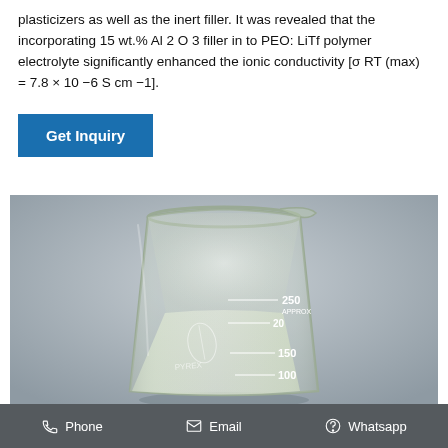plasticizers as well as the inert filler. It was revealed that the incorporating 15 wt.% Al 2 O 3 filler in to PEO: LiTf polymer electrolyte significantly enhanced the ionic conductivity [σ RT (max) = 7.8 × 10 −6 S cm −1].
Get Inquiry
[Figure (photo): A glass beaker containing a clear liquid. The beaker has measurement markings visible at 100, 150, 200, and 250 mL, with 'APPROX' text. The background is grey.]
Phone   Email   Whatsapp